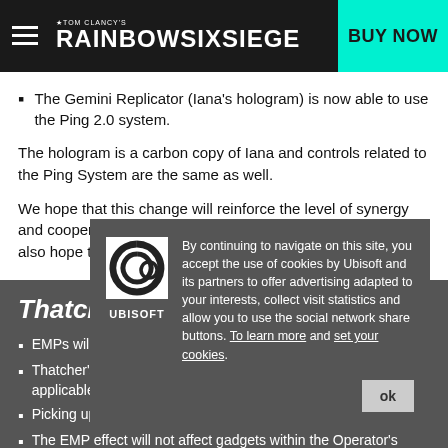Tom Clancy's Rainbow Six Siege — BUY NOW
The Gemini Replicator (Iana's hologram) is now able to use the Ping 2.0 system.
The hologram is a carbon copy of Iana and controls related to the Ping System are the same as well.
We hope that this change will reinforce the level of synergy and cooperation that Iana brings to the attacking team, we also hope that it will also rationalize and streamline her ability.
Thatcher
EMPs will now disable gadgets instead of destroying them.
Thatcher's EMP effect increased to 15s (from 10s when applicable).
Picking up a disabled gadget will remove the EMP effect.
The EMP effect will not affect gadgets within the Operator's inventory.
By continuing to navigate on this site, you accept the use of cookies by Ubisoft and its partners to offer advertising adapted to your interests, collect visit statistics and allow you to use the social network share buttons. To learn more and set your cookies.